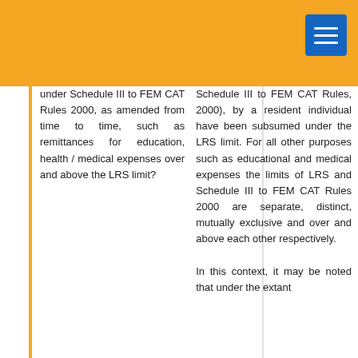under Schedule III to FEM CAT Rules 2000, as amended from time to time, such as remittances for education, health / medical expenses over and above the LRS limit?
Schedule III to FEM CAT Rules, 2000), by a resident individual have been subsumed under the LRS limit. For all other purposes such as educational and medical expenses the limits of LRS and Schedule III to FEM CAT Rules 2000 are separate, distinct, mutually exclusive and over and above each other respectively.

In this context, it may be noted that under the extant